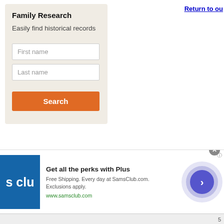Return to ou
Family Research
Easily find historical records
[Figure (screenshot): Search form with First name and Last name input fields and an orange Search button]
[Figure (infographic): Sam's Club advertisement: Get all the perks with Plus. Free Shipping. Every day at SamsClub.com. Exclusions apply. www.samsclub.com]
5